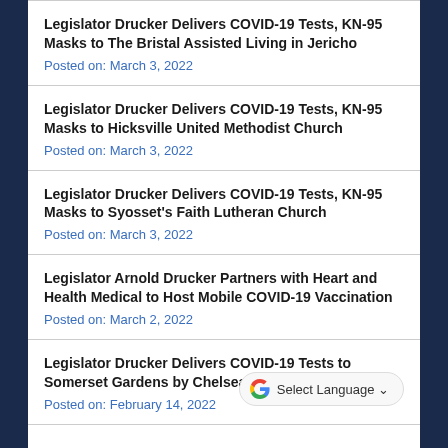Legislator Drucker Delivers COVID-19 Tests, KN-95 Masks to The Bristal Assisted Living in Jericho
Posted on: March 3, 2022
Legislator Drucker Delivers COVID-19 Tests, KN-95 Masks to Hicksville United Methodist Church
Posted on: March 3, 2022
Legislator Drucker Delivers COVID-19 Tests, KN-95 Masks to Syosset's Faith Lutheran Church
Posted on: March 3, 2022
Legislator Arnold Drucker Partners with Heart and Health Medical to Host Mobile COVID-19 Vaccination
Posted on: March 2, 2022
Legislator Drucker Delivers COVID-19 Tests to Somerset Gardens by Chelsea Seni…
Posted on: February 14, 2022